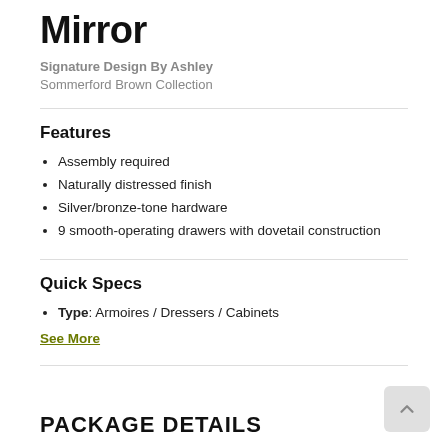Mirror
Signature Design By Ashley
Sommerford Brown Collection
Features
Assembly required
Naturally distressed finish
Silver/bronze-tone hardware
9 smooth-operating drawers with dovetail construction
Quick Specs
Type: Armoires / Dressers / Cabinets
See More
PACKAGE DETAILS